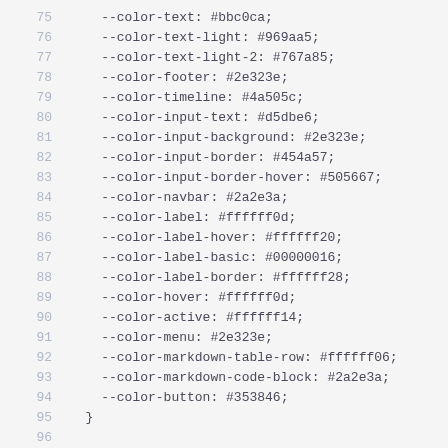75  --color-text: #bbc0ca;
76  --color-text-light: #969aa5;
77  --color-text-light-2: #767a85;
78  --color-footer: #2e323e;
79  --color-timeline: #4a505c;
80  --color-input-text: #d5dbe6;
81  --color-input-background: #2e323e;
82  --color-input-border: #454a57;
83  --color-input-border-hover: #505667;
84  --color-navbar: #2a2e3a;
85  --color-label: #ffffff0d;
86  --color-label-hover: #ffffff20;
87  --color-label-basic: #00000016;
88  --color-label-border: #ffffff28;
89  --color-hover: #ffffff0d;
90  --color-active: #ffffff14;
91  --color-menu: #2e323e;
92  --color-markdown-table-row: #ffffff06;
93  --color-markdown-code-block: #2a2e3a;
94  --color-button: #353846;
95  }
96